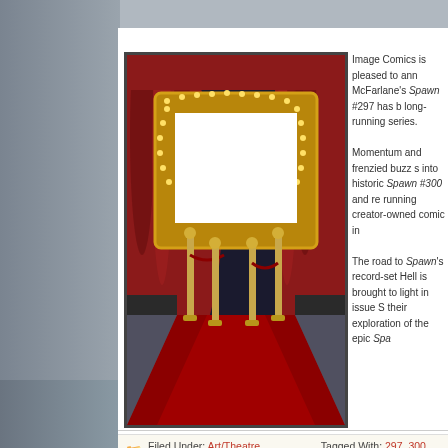[Figure (illustration): Red carpet and curtain movie theater scene with golden marquee frame, red velvet curtains, gold stanchions and rope barriers, red carpet leading to dark background]
Image Comics is pleased to announce McFarlane's Spawn #297 has been the long-running series.
Momentum and frenzied buzz surrounding into historic Spawn #300 and re-running creator-owned comic in
The road to Spawn's record-setting Hell is brought to light in issue S their exploration of the epic Spa
Filed Under: Art/Theatre, Headlines   Tagged With: 297, 300, antic
[Figure (photo): Blu-ray + DVD + Digital HD Ultraviolet product box with dark imagery]
Actors: Sullivan Stapleton, Eva
Directors: Noam Murro
Studio: Warner Home Video